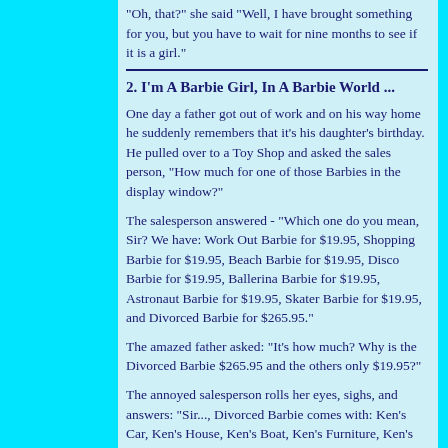"Oh, that?" she said "Well, I have brought something for you, but you have to wait for nine months to see if it is a girl."
2. I'm A Barbie Girl, In A Barbie World ...
One day a father got out of work and on his way home he suddenly remembers that it's his daughter's birthday. He pulled over to a Toy Shop and asked the sales person, "How much for one of those Barbies in the display window?"
The salesperson answered - "Which one do you mean, Sir? We have: Work Out Barbie for $19.95, Shopping Barbie for $19.95, Beach Barbie for $19.95, Disco Barbie for $19.95, Ballerina Barbie for $19.95, Astronaut Barbie for $19.95, Skater Barbie for $19.95, and Divorced Barbie for $265.95."
The amazed father asked: "It's how much? Why is the Divorced Barbie $265.95 and the others only $19.95?"
The annoyed salesperson rolls her eyes, sighs, and answers: "Sir..., Divorced Barbie comes with: Ken's Car, Ken's House, Ken's Boat, Ken's Furniture, Ken's